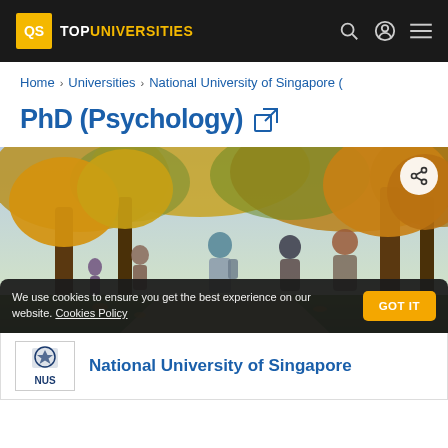QS TOP UNIVERSITIES
Home > Universities > National University of Singapore (
PhD (Psychology)
[Figure (photo): Students walking on a university campus path surrounded by autumn trees with orange and yellow foliage]
We use cookies to ensure you get the best experience on our website. Cookies Policy GOT IT
National University of Singapore